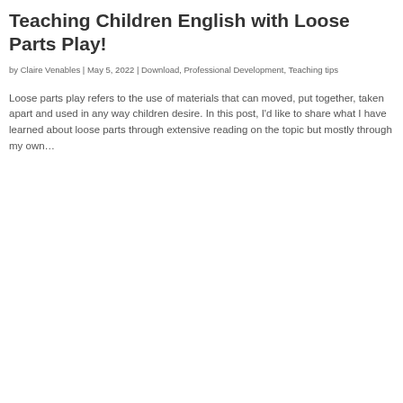Teaching Children English with Loose Parts Play!
by Claire Venables | May 5, 2022 | Download, Professional Development, Teaching tips
Loose parts play refers to the use of materials that can moved, put together, taken apart and used in any way children desire. In this post, I’d like to share what I have learned about loose parts through extensive reading on the topic but mostly through my own…